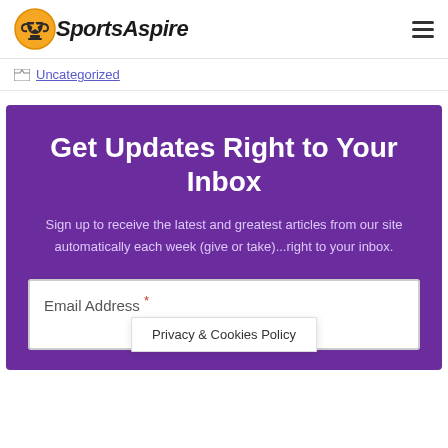SportsAspire
Uncategorized
Get Updates Right to Your Inbox
Sign up to receive the latest and greatest articles from our site automatically each week (give or take)...right to your inbox.
Email Address *
Privacy & Cookies Policy